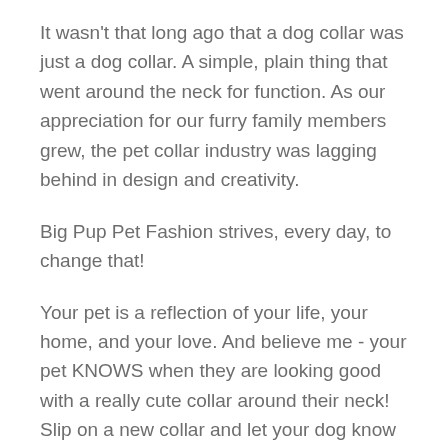It wasn't that long ago that a dog collar was just a dog collar. A simple, plain thing that went around the neck for function. As our appreciation for our furry family members grew, the pet collar industry was lagging behind in design and creativity.
Big Pup Pet Fashion strives, every day, to change that!
Your pet is a reflection of your life, your home, and your love. And believe me - your pet KNOWS when they are looking good with a really cute collar around their neck! Slip on a new collar and let your dog know how pretty they are and they will walk with pride and smile for all of those photos you will be dying to take of the hot new collar you've found!
We are always working hard to provide amazingly